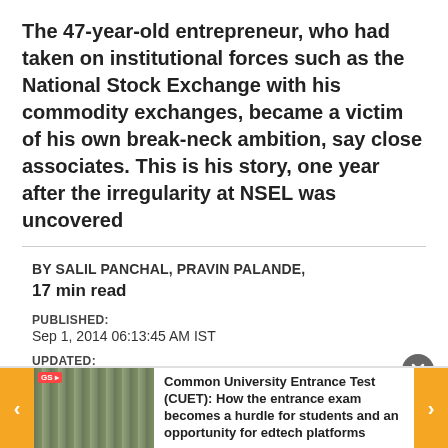The 47-year-old entrepreneur, who had taken on institutional forces such as the National Stock Exchange with his commodity exchanges, became a victim of his own break-neck ambition, say close associates. This is his story, one year after the irregularity at NSEL was uncovered
BY SALIL PANCHAL, PRAVIN PALANDE,
17 min read
PUBLISHED:
Sep 1, 2014 06:13:45 AM IST
UPDATED:
Jun 13, 2016 06:54:07 PM IST
Common University Entrance Test (CUET): How the entrance exam becomes a hurdle for students and an opportunity for edtech platforms